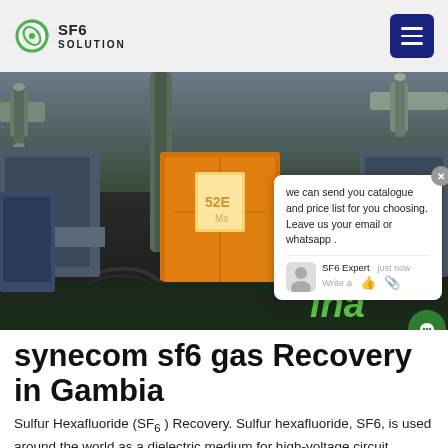SF6 SOLUTION
[Figure (photo): Industrial electrical substation with large pipes, transformers, and an orange truck/container in the background at night/dusk. SF6 gas recovery equipment on site.]
we can send you catalogue and price list for you choosing. Leave us your email or whatsapp .
SF6 Expert  just now
Write a
synecom sf6 gas Recovery in Gambia
Sulfur Hexafluoride (SF₆) Recovery. Sulfur hexafluoride, SF6, is used around the world as a dielectric medium for high-voltage circuit breakers,